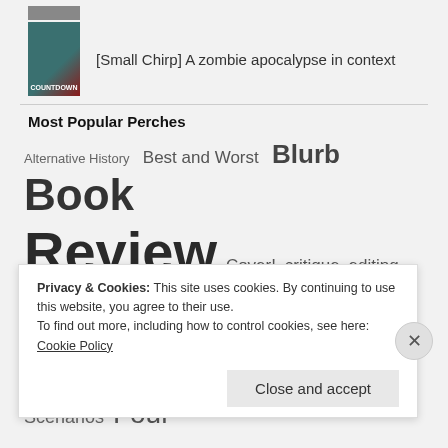[Figure (photo): Partial book cover thumbnail at top, partially cropped]
[Small Chirp] A zombie apocalypse in context
Most Popular Perches
Alternative History  Best and Worst  Blurb  Book Review  Cover!  critique  editing  Editorial  Fantasy  Fiction  Five Scenarios  Four
Privacy & Cookies: This site uses cookies. By continuing to use this website, you agree to their use.
To find out more, including how to control cookies, see here: Cookie Policy
Close and accept